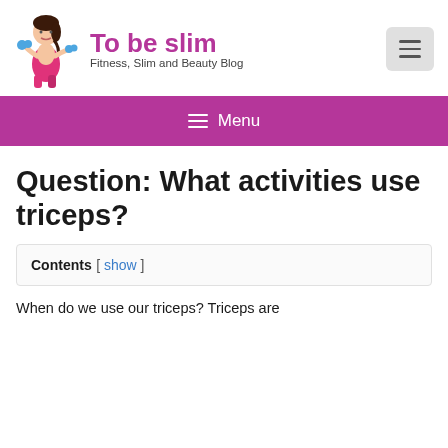To be slim — Fitness, Slim and Beauty Blog
Question: What activities use triceps?
Contents [ show ]
When do we use our triceps? Triceps are